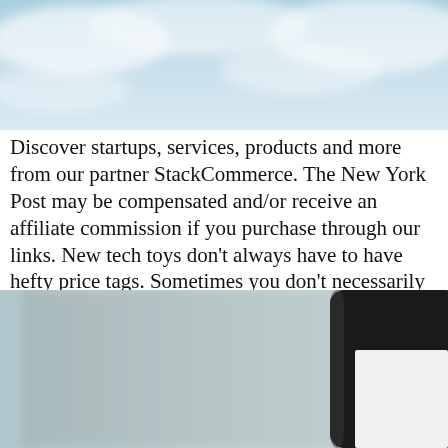[Figure (photo): Top portion: blurred sky with white and blue tones, clouds visible.]
Discover startups, services, products and more from our partner StackCommerce. The New York Post may be compensated and/or receive an affiliate commission if you purchase through our links. New tech toys don't always have to have hefty price tags. Sometimes you don't necessarily need the newest thing, just something new to you and better than […]]]>
[Figure (photo): Bottom portion: Close-up blurred photo of a device, likely a monitor or tablet with a black bezel, against a light grey/blue blurred background.]